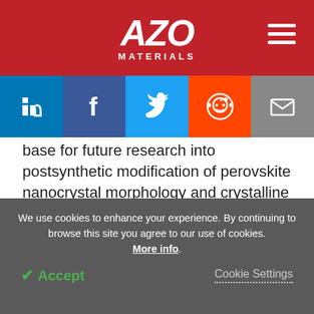AZO MATERIALS
base for future research into postsynthetic modification of perovskite nanocrystal morphology and crystalline phases. The authors have stated that energy-related applications could benefit greatly from transformed nanocrystals due to their impressive properties.
We use cookies to enhance your experience. By continuing to browse this site you agree to our use of cookies. More info.
Accept   Cookie Settings